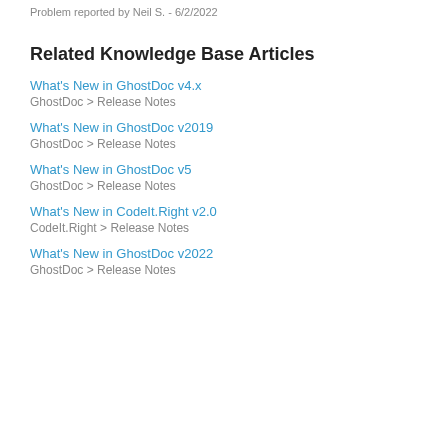Problem reported by Neil S. - 6/2/2022
Related Knowledge Base Articles
What's New in GhostDoc v4.x
GhostDoc > Release Notes
What's New in GhostDoc v2019
GhostDoc > Release Notes
What's New in GhostDoc v5
GhostDoc > Release Notes
What's New in CodeIt.Right v2.0
CodeIt.Right > Release Notes
What's New in GhostDoc v2022
GhostDoc > Release Notes